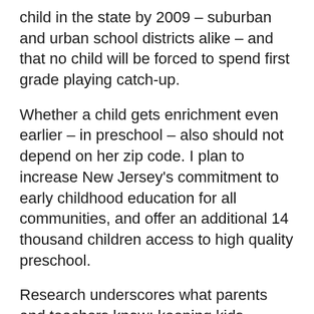child in the state by 2009 – suburban and urban school districts alike – and that no child will be forced to spend first grade playing catch-up.
Whether a child gets enrichment even earlier – in preschool – also should not depend on her zip code. I plan to increase New Jersey's commitment to early childhood education for all communities, and offer an additional 14 thousand children access to high quality preschool.
Research underscores what parents and teachers know: keeping kids engaged after the normal school hours has tremendous educational value, while allowing parents to balance work and family life.
After-school programs help kids with homework, and keep them off the streets, physically active, and out of trouble.
It's no surprise that juvenile crime spikes between school